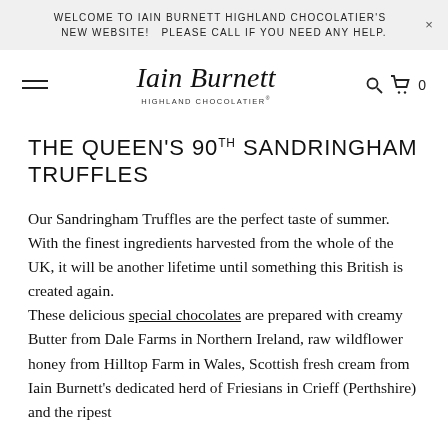WELCOME TO IAIN BURNETT HIGHLAND CHOCOLATIER'S NEW WEBSITE! PLEASE CALL IF YOU NEED ANY HELP. ×
[Figure (logo): Iain Burnett Highland Chocolatier logo with script text and navigation icons (hamburger menu, search, cart)]
THE QUEEN'S 90TH SANDRINGHAM TRUFFLES
Our Sandringham Truffles are the perfect taste of summer. With the finest ingredients harvested from the whole of the UK, it will be another lifetime until something this British is created again. These delicious special chocolates are prepared with creamy Butter from Dale Farms in Northern Ireland, raw wildflower honey from Hilltop Farm in Wales, Scottish fresh cream from Iain Burnett's dedicated herd of Friesians in Crieff (Perthshire) and the ripest